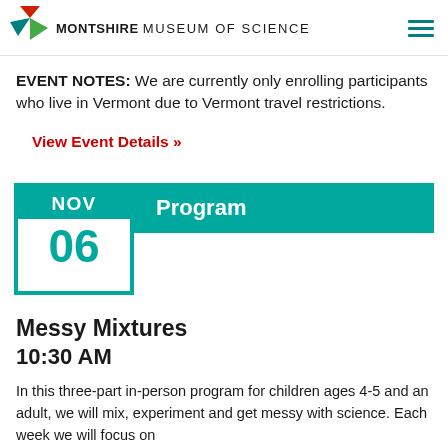MONTSHIRE MUSEUM OF SCIENCE
EVENT NOTES: We are currently only enrolling participants who live in Vermont due to Vermont travel restrictions.
View Event Details »
[Figure (infographic): Calendar date block showing NOV 06 with teal/green color scheme, and a 'Program' label banner to the right]
Messy Mixtures
10:30 AM
In this three-part in-person program for children ages 4-5 and an adult, we will mix, experiment and get messy with science. Each week we will focus on